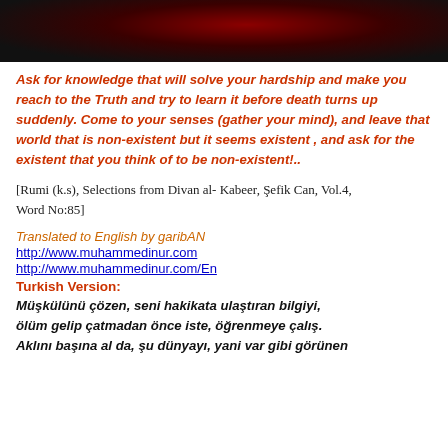[Figure (photo): Dark image with reddish glowing element, possibly a flame or ember against a black background]
Ask for knowledge that will solve your hardship and make you reach to the Truth and try to learn it before death turns up suddenly. Come to your senses (gather your mind), and leave that world that is non-existent but it seems existent , and ask for the existent that you think of to be non-existent!..
[Rumi (k.s), Selections from Divan al- Kabeer, Şefik Can, Vol.4, Word No:85]
Translated to English by garibAN
http://www.muhammedinur.com
http://www.muhammedinur.com/En
Turkish Version:
Müşkülünü çözen, seni hakikata ulaştıran bilgiyi, ölüm gelip çatmadan önce iste, öğrenmeye çalış. Aklını başına al da, şu dünyayı, yani var gibi görünen